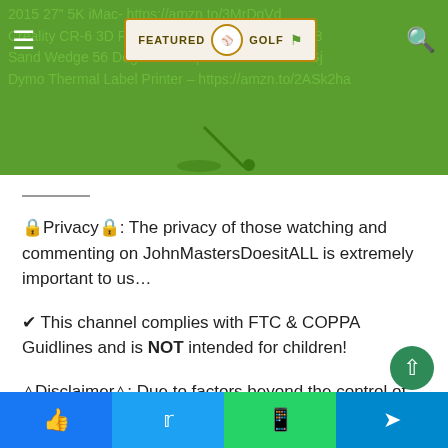Featured Golf website navigation bar with hamburger menu and search icon
2015 27" 5K iMac- https://amzn.to/3MrDgVd
Creality CR-6 3D Printer – https://amzn.to/36pdD8
Sand Wedge 56 Degrees – https://amzn.to/3afWGj
Dymo Thermal Label Printer – https://amzn.to/2ASk2ha
🔒Privacy🔒: The privacy of those watching and commenting on JohnMastersDoesitALL is extremely important to us…
✔ This channel complies with FTC & COPPA Guidlines and is NOT intended for children!
⚠Disclaimer⚠: Due to factors beyond the control of John Masters, no information contained in this video shall create any expressed or implied warranty or guarantee of any particular result. Any injury, damage, or loss that may result
Facebook | Twitter | WhatsApp | Telegram share buttons